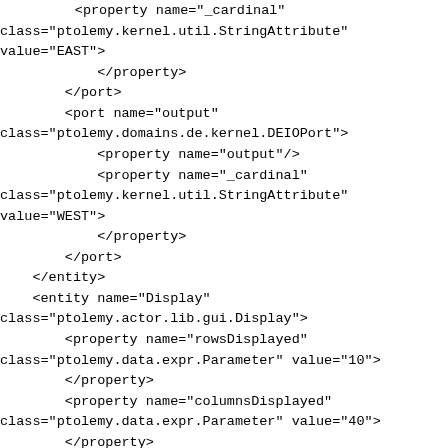<property name="_cardinal"
class="ptolemy.kernel.util.StringAttribute"
value="EAST">
            </property>
        </port>
        <port name="output"
class="ptolemy.domains.de.kernel.DEIOPort">
            <property name="output"/>
            <property name="_cardinal"
class="ptolemy.kernel.util.StringAttribute"
value="WEST">
            </property>
        </port>
    </entity>
    <entity name="Display"
class="ptolemy.actor.lib.gui.Display">
        <property name="rowsDisplayed"
class="ptolemy.data.expr.Parameter" value="10">
        </property>
        <property name="columnsDisplayed"
class="ptolemy.data.expr.Parameter" value="40">
        </property>
        <property name="title"